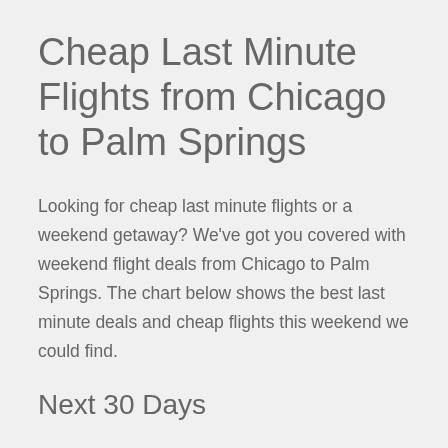Cheap Last Minute Flights from Chicago to Palm Springs
Looking for cheap last minute flights or a weekend getaway? We've got you covered with weekend flight deals from Chicago to Palm Springs. The chart below shows the best last minute deals and cheap flights this weekend we could find.
Next 30 Days